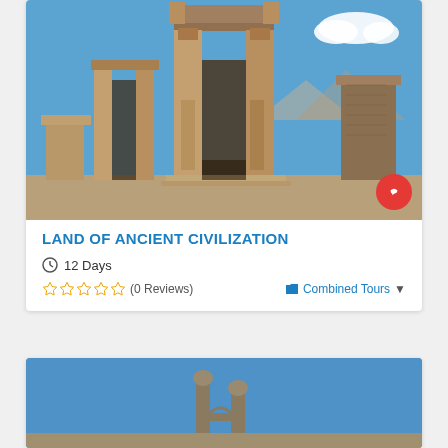[Figure (photo): Photo of Persepolis ancient ruins with tall stone columns and gates against a blue sky with a white cloud. A red circular chat button is visible in the bottom-right corner of the image.]
LAND OF ANCIENT CIVILIZATION
12 Days
(0 Reviews)
Combined Tours
[Figure (photo): Partial photo of another ancient structure against a blue sky, showing the beginning of a second tour card.]